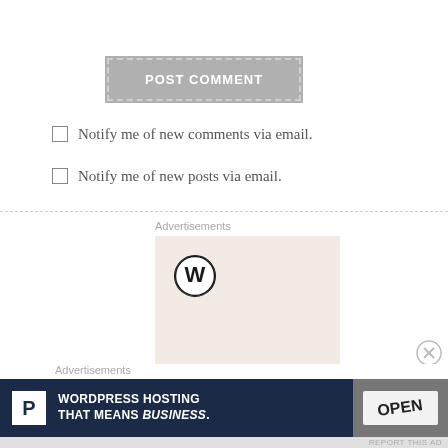POST COMMENT
Notify me of new comments via email.
Notify me of new posts via email.
Advertisements
[Figure (logo): WordPress logo on a light beige/cream background]
[Figure (photo): Close X button]
Advertisements
[Figure (infographic): WordPress Hosting banner ad: dark navy background with stylized P icon, text WORDPRESS HOSTING THAT MEANS BUSINESS., and an OPEN sign photo on the right]
REPORT THIS AD